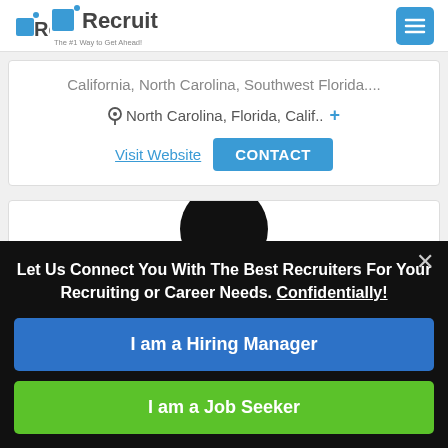Recruit — The #1 Way to Get Ahead!
California, North Carolina, Southwest Florida....
North Carolina, Florida, Calif.. +
Visit Website   CONTACT
[Figure (photo): Partial profile card with a black circular avatar silhouette visible at top]
Let Us Connect You With The Best Recruiters For Your Recruiting or Career Needs. Confidentially!
I am a Hiring Manager
I am a Job Seeker